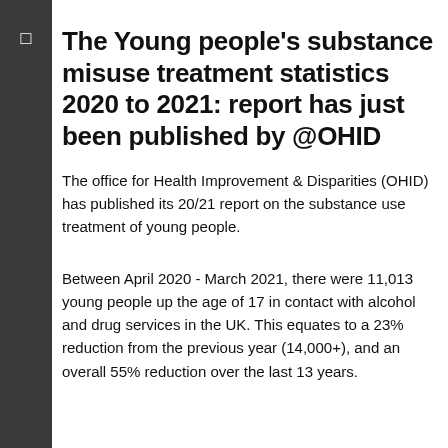The Young people's substance misuse treatment statistics 2020 to 2021: report has just been published by @OHID
The office for Health Improvement & Disparities (OHID) has published its 20/21 report on the substance use treatment of young people.
Between April 2020 - March 2021, there were 11,013 young people up the age of 17 in contact with alcohol and drug services in the UK. This equates to a 23% reduction from the previous year (14,000+), and an overall 55% reduction over the last 13 years.